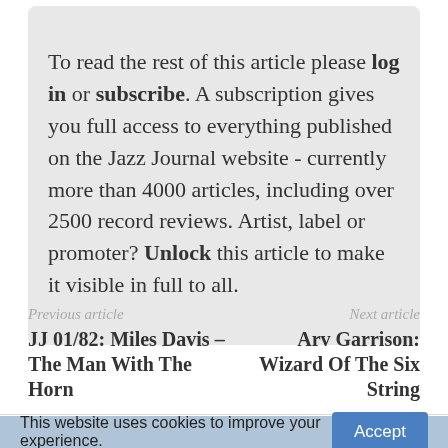To read the rest of this article please log in or subscribe. A subscription gives you full access to everything published on the Jazz Journal website - currently more than 4000 articles, including over 2500 record reviews. Artist, label or promoter? Unlock this article to make it visible in full to all.
Previous article
Next article
JJ 01/82: Miles Davis – The Man With The Horn
Arv Garrison: Wizard Of The Six String
This website uses cookies to improve your experience.